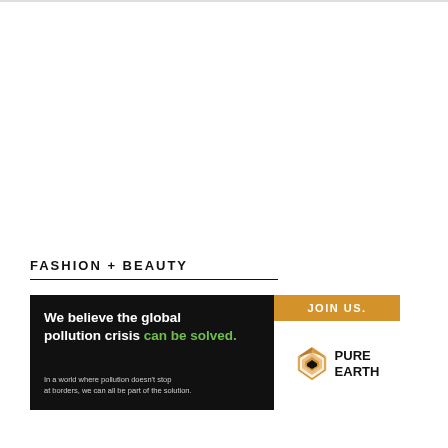FASHION + BEAUTY
[Figure (infographic): Pure Earth advertisement banner. Left side: black background with white bold text 'We believe the global pollution crisis can be solved.' with 'can be solved.' in green. Smaller grey subtext: 'In a world where pollution doesn't stop at borders, we can all be part of the solution.' Right side: white background with golden-orange 'JOIN US.' banner at top, and Pure Earth logo (diamond/layered icon in gold/black) with 'PURE EARTH' bold text in black.]